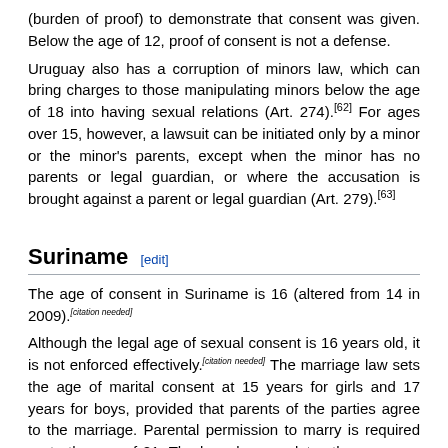(burden of proof) to demonstrate that consent was given. Below the age of 12, proof of consent is not a defense.
Uruguay also has a corruption of minors law, which can bring charges to those manipulating minors below the age of 18 into having sexual relations (Art. 274).[62] For ages over 15, however, a lawsuit can be initiated only by a minor or the minor's parents, except when the minor has no parents or legal guardian, or where the accusation is brought against a parent or legal guardian (Art. 279).[63]
Suriname
The age of consent in Suriname is 16 (altered from 14 in 2009).[citation needed]
Although the legal age of sexual consent is 16 years old, it is not enforced effectively.[citation needed] The marriage law sets the age of marital consent at 15 years for girls and 17 years for boys, provided that parents of the parties agree to the marriage. Parental permission to marry is required up to the age of 21. The law also mandates the presence of a civil registry official to